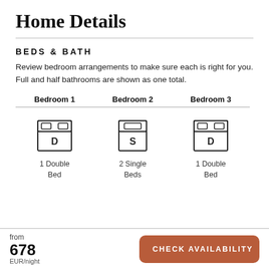Home Details
BEDS & BATH
Review bedroom arrangements to make sure each is right for you. Full and half bathrooms are shown as one total.
[Figure (infographic): Three bedroom icons showing bed types: Bedroom 1 (1 Double Bed), Bedroom 2 (2 Single Beds), Bedroom 3 (1 Double Bed)]
from
678
EUR/night
CHECK AVAILABILITY